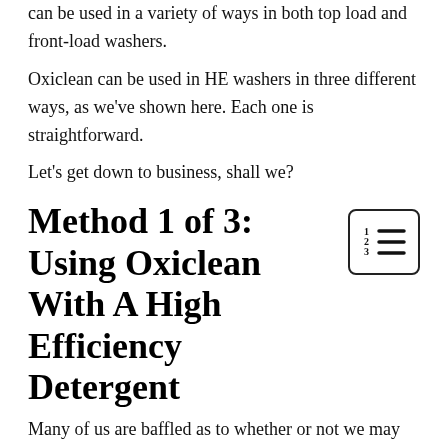can be used in a variety of ways in both top load and front-load washers.
Oxiclean can be used in HE washers in three different ways, as we've shown here. Each one is straightforward.
Let's get down to business, shall we?
Method 1 of 3: Using Oxiclean With A High Efficiency Detergent
Many of us are baffled as to whether or not we may use detergent and OxiClean at the same time. The answer is yes, you can mix OxiClean into your detergent. However, a